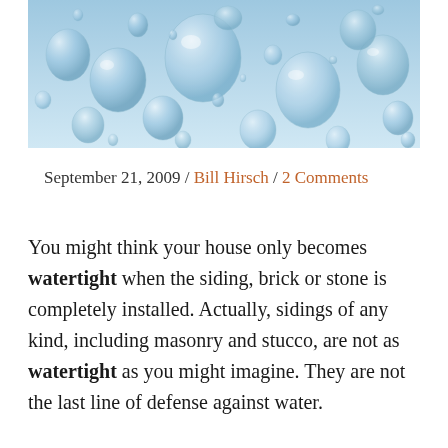[Figure (photo): Close-up photo of water droplets on a blue surface, various sizes of water drops condensed on a flat surface with a light blue gradient background]
September 21, 2009 / Bill Hirsch / 2 Comments
You might think your house only becomes watertight when the siding, brick or stone is completely installed. Actually, sidings of any kind, including masonry and stucco, are not as watertight as you might imagine. They are not the last line of defense against water.